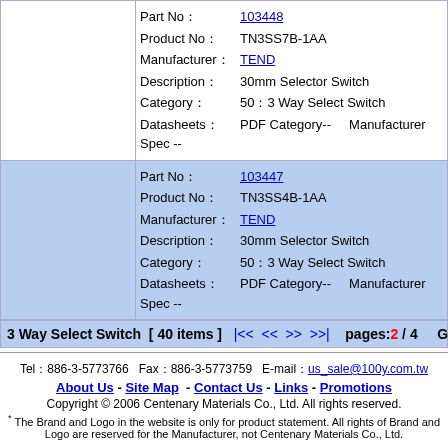| Part No： | 103448 | Product No： | TN3SS7B-1AA | Manufacturer： | TEND | Description： | 30mm Selector Switch | Category： | 50：3 Way Select Switch | Datasheets： | PDF Category-- | Manufacturer Spec -- |
| Part No： | 103447 | Product No： | TN3SS4B-1AA | Manufacturer： | TEND | Description： | 30mm Selector Switch | Category： | 50：3 Way Select Switch | Datasheets： | PDF Category-- | Manufacturer Spec -- |
3 Way Select Switch  [ 40 items ]  |<<  <<  >>  >>|  pages: 2 / 4  Go to:
Tel：886-3-5773766  Fax：886-3-5773759  E-mail：us_sale@100y.com.tw  About Us - Site Map - Contact Us - Links - Promotions  Copyright © 2006 Centenary Materials Co., Ltd. All rights reserved.  * The Brand and Logo in the website is only for product statement. All rights of Brand and Logo are reserved for the Manufacturer, not Centenary Materials Co., Ltd.